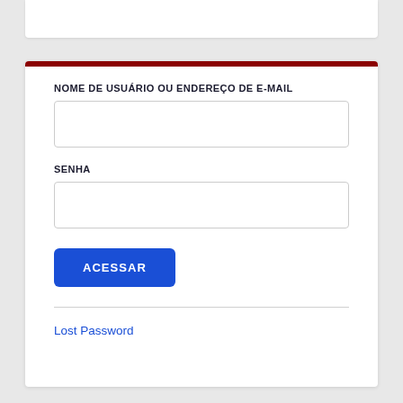[Figure (screenshot): Login form with fields for username/email and password, an access button, and a lost password link]
NOME DE USUÁRIO OU ENDEREÇO DE E-MAIL
SENHA
ACESSAR
Lost Password